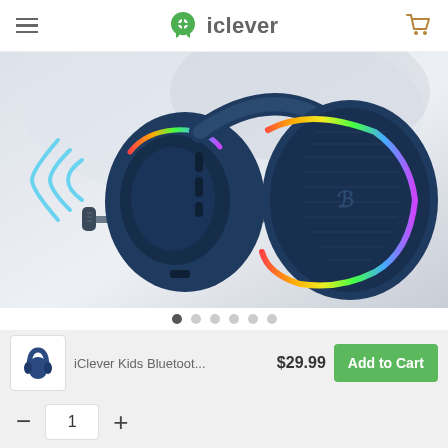iClever
[Figure (photo): iClever Kids Bluetooth Headphones BTH14 in navy blue with RGB lighting and detachable microphone, shown at an angle on a light grey background with Bluetooth signal waves]
iClever Kids Bluetooth Headphones BTH14
iClever Kids Bluetoot...  $29.99  Add to Cart
— 1 +